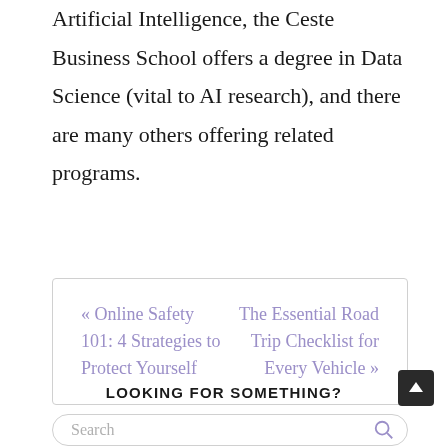Artificial Intelligence, the Ceste Business School offers a degree in Data Science (vital to AI research), and there are many others offering related programs.
« Online Safety 101: 4 Strategies to Protect Yourself   The Essential Road Trip Checklist for Every Vehicle »
LOOKING FOR SOMETHING?
Search